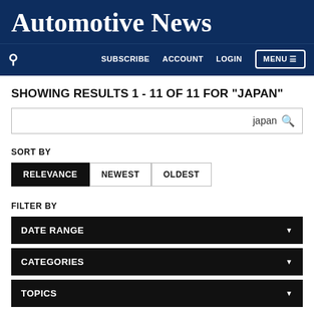Automotive News
SUBSCRIBE  ACCOUNT  LOGIN  MENU
SHOWING RESULTS 1 - 11 OF 11 FOR "JAPAN"
japan
SORT BY
RELEVANCE  NEWEST  OLDEST
FILTER BY
DATE RANGE
CATEGORIES
TOPICS